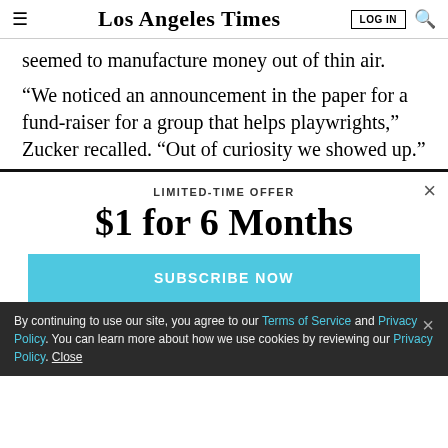Los Angeles Times
seemed to manufacture money out of thin air.
“We noticed an announcement in the paper for a fund-raiser for a group that helps playwrights,” Zucker recalled. “Out of curiosity we showed up.”
LIMITED-TIME OFFER
$1 for 6 Months
SUBSCRIBE NOW
By continuing to use our site, you agree to our Terms of Service and Privacy Policy. You can learn more about how we use cookies by reviewing our Privacy Policy. Close